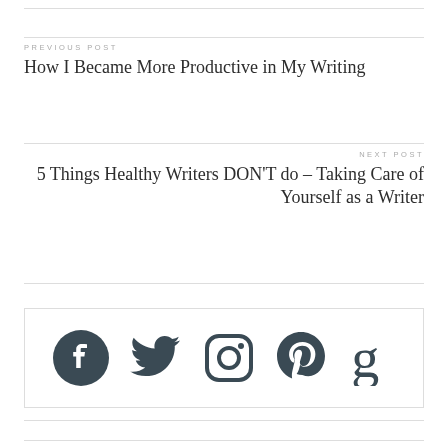PREVIOUS POST
How I Became More Productive in My Writing
NEXT POST
5 Things Healthy Writers DON'T do – Taking Care of Yourself as a Writer
[Figure (other): Social media icons: Facebook, Twitter, Instagram, Pinterest, Goodreads]